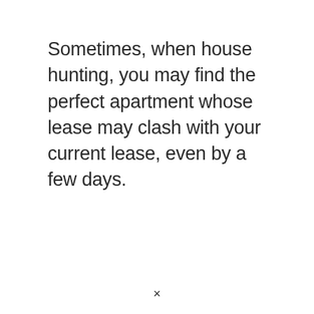Sometimes, when house hunting, you may find the perfect apartment whose lease may clash with your current lease, even by a few days.
×